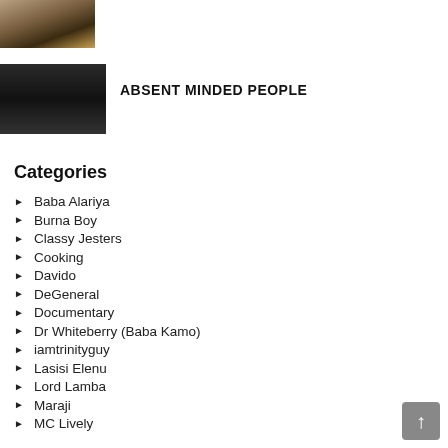[Figure (photo): Small thumbnail photo of a person wearing a hat, touching their head]
[Figure (photo): Thumbnail video still of a person in a dark indoor scene]
ABSENT MINDED PEOPLE
Categories
Baba Alariya
Burna Boy
Classy Jesters
Cooking
Davido
DeGeneral
Documentary
Dr Whiteberry (Baba Kamo)
iamtrinityguy
Lasisi Elenu
Lord Lamba
Maraji
MC Lively